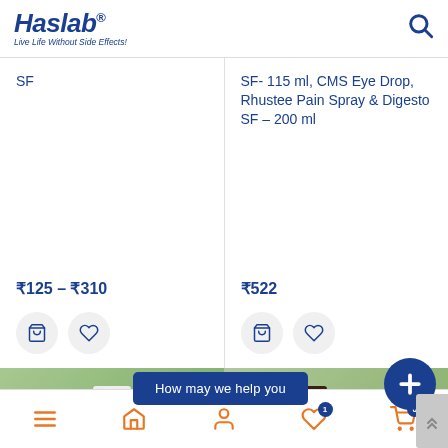[Figure (logo): Haslab logo with tagline 'Live Life Without Side Effects!']
SF
SF- 115 ml, CMS Eye Drop, Rhustee Pain Spray & Digesto SF – 200 ml
₹125 – ₹310
₹522
[Figure (screenshot): How may we help you banner with plus button and product images]
Bottom navigation bar with menu, home, account, wishlist (1), cart (0)